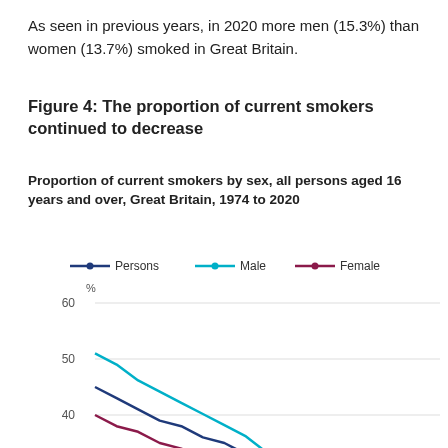As seen in previous years, in 2020 more men (15.3%) than women (13.7%) smoked in Great Britain.
Figure 4: The proportion of current smokers continued to decrease
Proportion of current smokers by sex, all persons aged 16 years and over, Great Britain, 1974 to 2020
[Figure (line-chart): Proportion of current smokers by sex, all persons aged 16 years and over, Great Britain, 1974 to 2020]